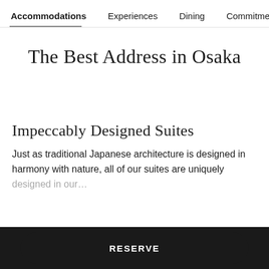Accommodations   Experiences   Dining   Commitment to
The Best Address in Osaka
Impeccably Designed Suites
Just as traditional Japanese architecture is designed in harmony with nature, all of our suites are uniquely designed in our…
RESERVE